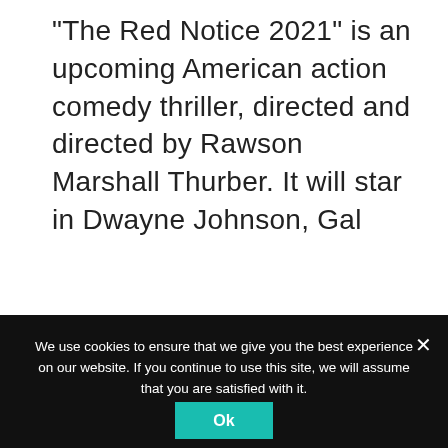“The Red Notice 2021” is an upcoming American action comedy thriller, directed and directed by Rawson Marshall Thurber. It will star in Dwayne Johnson, Gal
Read More
SHARE
[Figure (other): Facebook and Twitter share buttons]
We use cookies to ensure that we give you the best experience on our website. If you continue to use this site, we will assume that you are satisfied with it.